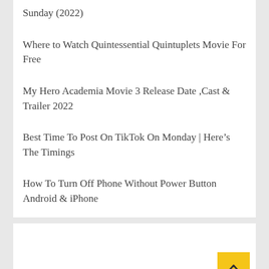Sunday (2022)
Where to Watch Quintessential Quintuplets Movie For Free
My Hero Academia Movie 3 Release Date ,Cast & Trailer 2022
Best Time To Post On TikTok On Monday | Here's The Timings
How To Turn Off Phone Without Power Button Android & iPhone
[Figure (other): Back to top button (yellow square with upward chevron arrow)]